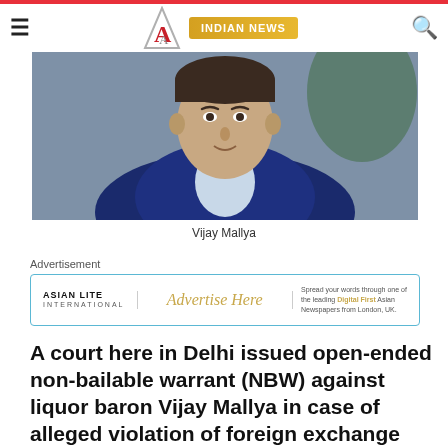≡ [Asian Lite Logo] INDIAN NEWS 🔍
[Figure (photo): Portrait photo of Vijay Mallya, a man in a blue blazer and white shirt]
Vijay Mallya
Advertisement
[Figure (other): Asian Lite International advertisement banner: Advertise Here – Spread your words through one of the leading Digital First Asian Newspapers from London, UK.]
A court here in Delhi issued open-ended non-bailable warrant (NBW) against liquor baron Vijay Mallya in case of alleged violation of foreign exchange rules – reports Asian Lite News